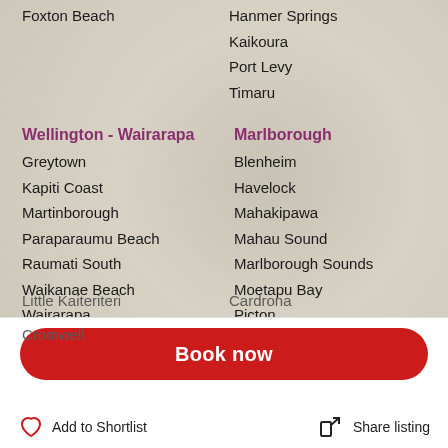Foxton Beach
Hanmer Springs
Kaikoura
Port Levy
Timaru
Wellington - Wairarapa
Greytown
Kapiti Coast
Martinborough
Paraparaumu Beach
Raumati South
Waikanae Beach
Wairarapa
Wellington
Marlborough
Blenheim
Havelock
Mahakipawa
Mahau Sound
Marlborough Sounds
Moetapu Bay
Picton
Rarangi
Nelson - Golden Bay
Abel Tasman National Park
Collingwood
Golden Bay
Queenstown - Wanaka
Little Kaiteriteri
Cardrona
Cromwell
Book now
Add to Shortlist
Share listing